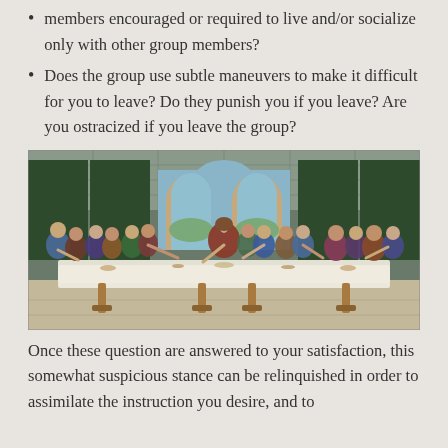members encouraged or required to live and/or socialize only with other group members?
Does the group use subtle maneuvers to make it difficult for you to leave? Do they punish you if you leave? Are you ostracized if you leave the group?
[Figure (photo): A reproduction of Leonardo da Vinci's The Last Supper painting, showing Jesus and the twelve apostles seated at a long table.]
Once these question are answered to your satisfaction, this somewhat suspicious stance can be relinquished in order to assimilate the instruction you desire, and to